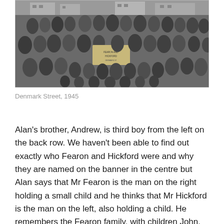[Figure (photo): Black and white group photograph taken on Denmark Street in 1945, showing a large group of adults and children gathered together outdoors, with some holding a banner in the centre reading 'Fearon and Hickford'.]
Denmark Street, 1945
Alan's brother, Andrew, is third boy from the left on the back row. We haven't been able to find out exactly who Fearon and Hickford were and why they are named on the banner in the centre but Alan says that Mr Fearon is the man on the right holding a small child and he thinks that Mr Hickford is the man on the left, also holding a child. He remembers the Fearon family, with children John,